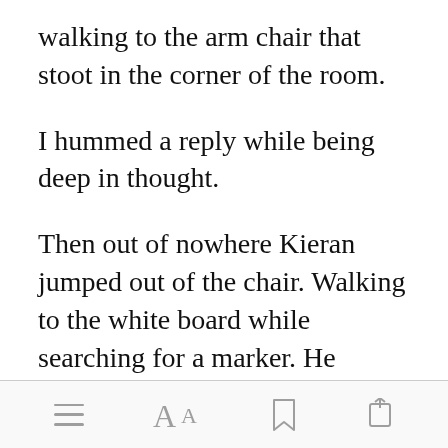walking to the arm chair that stoot in the corner of the room.
I hummed a reply while being deep in thought.
Then out of nowhere Kieran jumped out of the chair. Walking to the white board while searching for a marker. He started explaining his thought proce [Open in app]
[toolbar: menu, AA, bookmark, share]